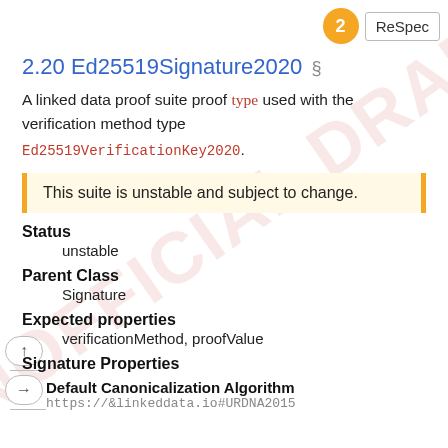2.20 Ed25519Signature2020 §
A linked data proof suite proof type used with the verification method type Ed25519VerificationKey2020.
This suite is unstable and subject to change.
Status
    unstable
Parent Class
    Signature
Expected properties
    verificationMethod, proofValue
Signature Properties
Default Canonicalization Algorithm